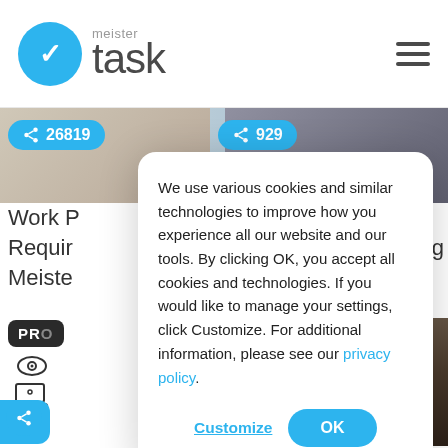[Figure (screenshot): MeisterTask website header with logo (blue circle with checkmark, 'meister task' text) and hamburger menu icon on the right]
[Figure (screenshot): Website background content showing share badges with counts 26819 and 929, partial article titles including 'Work P...', 'Requir...', 'Meiste...', 'pping', a dark PRO button, icons, and bottom text 'Stop S...to', 'Start E...']
We use various cookies and similar technologies to improve how you experience all our website and our tools. By clicking OK, you accept all cookies and technologies. If you would like to manage your settings, click Customize. For additional information, please see our privacy policy.
Customize
OK